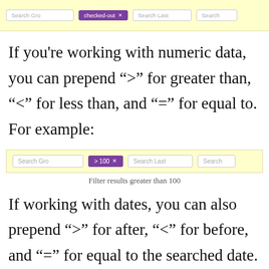[Figure (screenshot): UI screenshot showing search fields with a 'checked-out' purple tag pill and search boxes labeled Search Gro, Search Last, Search]
If you’re working with numeric data, you can prepend “>” for greater than, “<” for less than, and “=” for equal to. For example:
[Figure (screenshot): UI screenshot showing search fields with a '>100 x' purple tag pill in the middle, labeled Search Gro, Search Last, Search]
Filter results greater than 100
If working with dates, you can also prepend “>” for after, “<” for before, and “=” for equal to the searched date.